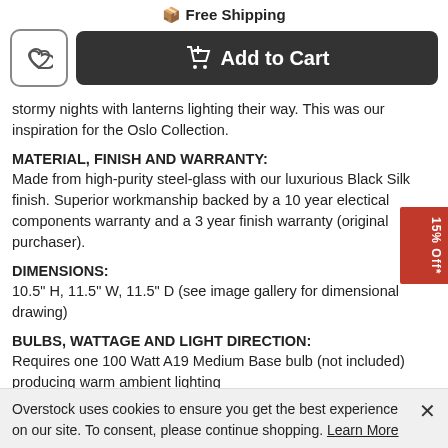Free Shipping
Add to Cart
stormy nights with lanterns lighting their way. This was our inspiration for the Oslo Collection.
MATERIAL, FINISH AND WARRANTY:
Made from high-purity steel-glass with our luxurious Black Silk finish. Superior workmanship backed by a 10 year electical components warranty and a 3 year finish warranty (original purchaser).
DIMENSIONS:
10.5" H, 11.5" W, 11.5" D (see image gallery for dimensional drawing)
BULBS, WATTAGE AND LIGHT DIRECTION:
Requires one 100 Watt A19 Medium Base bulb (not included) producing warm ambient lighting
INSTALLATION:
Outdoor (wet locations approved) and ceiling mounted (installation
Overstock uses cookies to ensure you get the best experience on our site. To consent, please continue shopping. Learn More